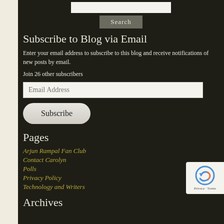[Figure (screenshot): Search input box and Search button on dark background]
Subscribe to Blog via Email
Enter your email address to subscribe to this blog and receive notifications of new posts by email.
Join 26 other subscribers
[Figure (screenshot): Email Address input field]
[Figure (screenshot): Subscribe button]
Pages
Arjun Rampal Fan Club
Contact Carolyn
Polls
Privacy Policy
Technology and Writers
Archives